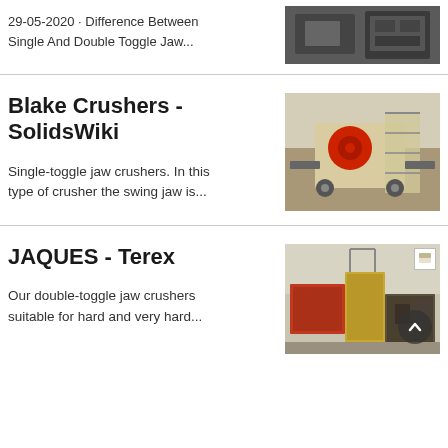29-05-2020 · Difference Between Single And Double Toggle Jaw...
[Figure (photo): Industrial equipment / machinery photo thumbnail]
Blake Crushers - SolidsWiki
Single-toggle jaw crushers. In this type of crusher the swing jaw is...
[Figure (photo): Mobile jaw crusher machine on outdoor pavement]
JAQUES - Terex
Our double-toggle jaw crushers suitable for hard and very hard...
[Figure (photo): Industrial crusher installation with containers and machinery]